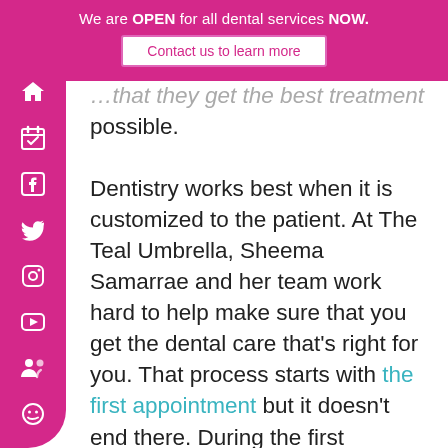We are OPEN for all dental services NOW. Contact us to learn more
...that they get the best treatment possible.

Dentistry works best when it is customized to the patient. At The Teal Umbrella, Sheema Samarrae and her team work hard to help make sure that you get the dental care that's right for you. That process starts with the first appointment but it doesn't end there. During the first appointment, our team screens new patients for a range of dental problems and risk factors.